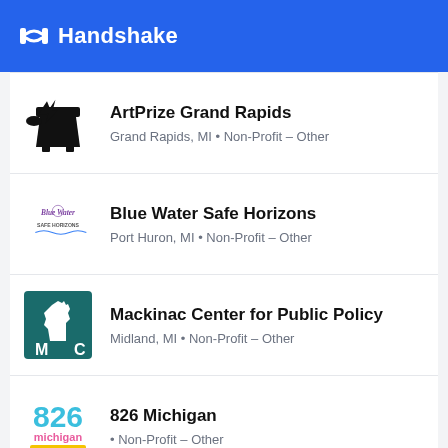Handshake
ArtPrize Grand Rapids
Grand Rapids, MI • Non-Profit – Other
Blue Water Safe Horizons
Port Huron, MI • Non-Profit – Other
Mackinac Center for Public Policy
Midland, MI • Non-Profit – Other
826 Michigan
• Non-Profit – Other